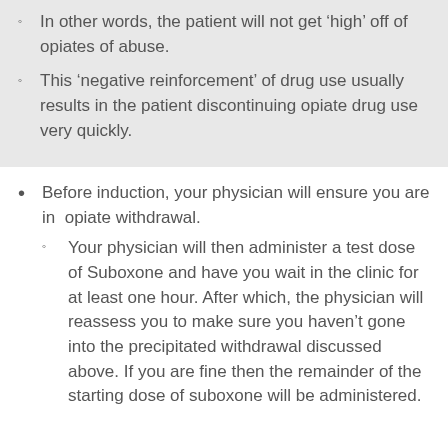In other words, the patient will not get 'high' off of opiates of abuse.
This 'negative reinforcement' of drug use usually results in the patient discontinuing opiate drug use very quickly.
Before induction, your physician will ensure you are in opiate withdrawal.
Your physician will then administer a test dose of Suboxone and have you wait in the clinic for at least one hour. After which, the physician will reassess you to make sure you haven't gone into the precipitated withdrawal discussed above. If you are fine then the remainder of the starting dose of suboxone will be administered.